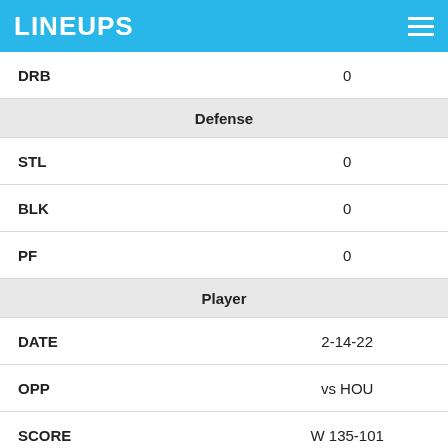LINEUPS
| DRB | 0 |
| Defense |  |
| STL | 0 |
| BLK | 0 |
| PF | 0 |
| Player |  |
| DATE | 2-14-22 |
| OPP | vs HOU |
| SCORE | W 135-101 |
| MINS | 3 |
| Fantasy Points |  |
| FPTS | 2 |